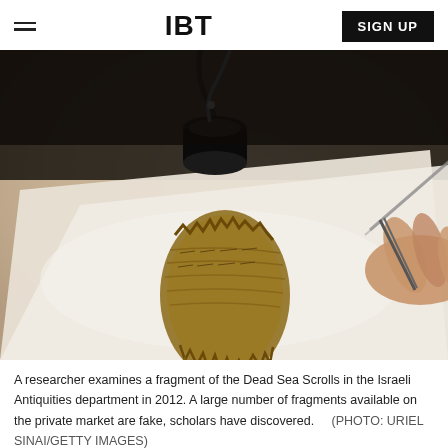IBT
[Figure (photo): A researcher examines a fragment of the Dead Sea Scrolls on a white surface under a magnifying lamp, using tweezers. The fragment appears golden-brown and textured against a white background. Photographed in the Israeli Antiquities department in 2012.]
A researcher examines a fragment of the Dead Sea Scrolls in the Israeli Antiquities department in 2012. A large number of fragments available on the private market are fake, scholars have discovered. (PHOTO: URIEL SINAI/GETTY IMAGES)